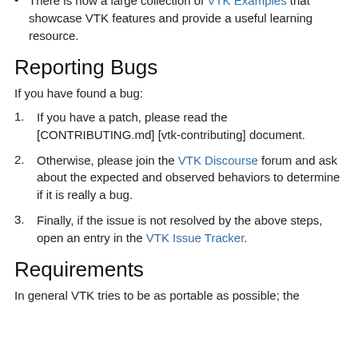There is now a large collection of VTK Examples that showcase VTK features and provide a useful learning resource.
Reporting Bugs
If you have found a bug:
1. If you have a patch, please read the [CONTRIBUTING.md] [vtk-contributing] document.
2. Otherwise, please join the VTK Discourse forum and ask about the expected and observed behaviors to determine if it is really a bug.
3. Finally, if the issue is not resolved by the above steps, open an entry in the VTK Issue Tracker.
Requirements
In general VTK tries to be as portable as possible; the